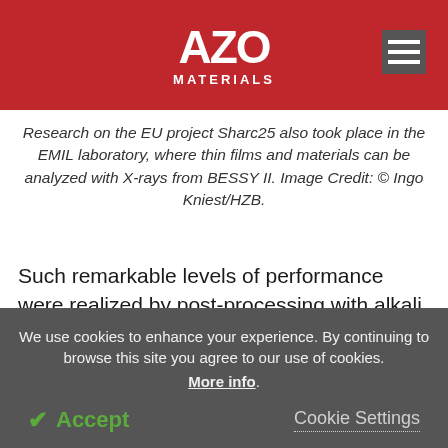AZO MATERIALS
Research on the EU project Sharc25 also took place in the EMIL laboratory, where thin films and materials can be analyzed with X-rays from BESSY II. Image Credit: © Ingo Kniest/HZB.
Such remarkable levels of performance were realized by post-processing with alkali elements, and the processes involved are appropriate for commercial-scale production.
We use cookies to enhance your experience. By continuing to browse this site you agree to our use of cookies. More info.